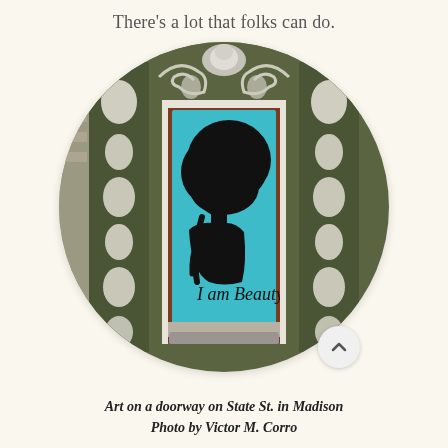There's a lot that folks can do.
[Figure (photo): Circular-cropped photograph of an ornate building doorway on State St. in Madison. The door features a teal/turquoise painted glass panel with a black silhouette of a person's profile with a large afro, and the text 'I am Beauty' written in script. The door frame and surrounding wall have elaborate white and dark green ornamental decorations. A scroll-up button (chevron) is visible at the lower right of the circular crop.]
Art on a doorway on State St. in Madison
Photo by Victor M. Corro